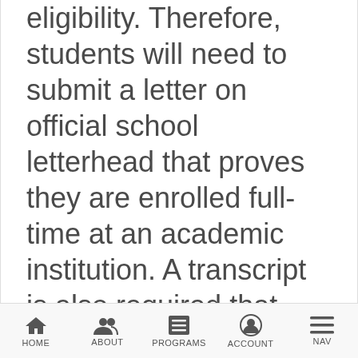eligibility. Therefore, students will need to submit a letter on official school letterhead that proves they are enrolled full-time at an academic institution. A transcript is also required that proves good academic standing for the prior semester. Students will also need to send in two letters of recommendation that
HOME | ABOUT | PROGRAMS | ACCOUNT | NAV